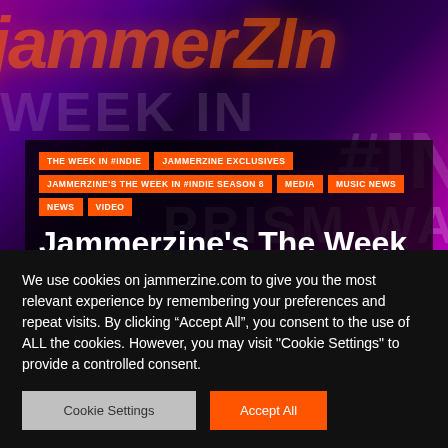[Figure (screenshot): Jammerzine website header banner with purple/magenta gradient background and orange stylized logo text]
THE WEEK IN #INDIE
JAMMERZINE EXCLUSIVES
JAMMERZINE'S THE WEEK IN #INDIE SEASON 8
MEDIA
MUSIC NEWS
NEWS
VIDEO
Jammerzine's The Week in #Indie for 5/16/2022
By RYAN MARTIN  © May 16, 2022
We use cookies on jammerzine.com to give you the most relevant experience by remembering your preferences and repeat visits. By clicking “Accept All”, you consent to the use of ALL the cookies. However, you may visit "Cookie Settings" to provide a controlled consent.
Cookie Settings
Accept All